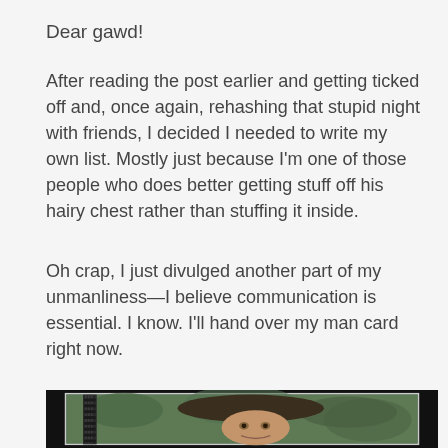Dear gawd!
After reading the post earlier and getting ticked off and, once again, rehashing that stupid night with friends, I decided I needed to write my own list. Mostly just because I'm one of those people who does better getting stuff off his hairy chest rather than stuffing it inside.
Oh crap, I just divulged another part of my unmanliness—I believe communication is essential. I know. I'll hand over my man card right now.
[Figure (photo): A man wearing a wide-brimmed hat, holding what appears to be a large gun or weapon, outdoors with greenery in background. Image has a black border/frame.]